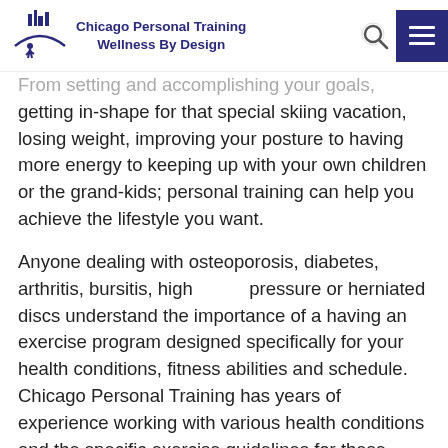Chicago Personal Training Wellness By Design
From setting and accomplishing your goals, getting in-shape for that special skiing vacation, losing weight, improving your posture to having more energy to keeping up with your own children or the grand-kids; personal training can help you achieve the lifestyle you want.
Anyone dealing with osteoporosis, diabetes, arthritis, bursitis, high pressure or herniated discs understand the importance of a having an exercise program designed specifically for your health conditions, fitness abilities and schedule. Chicago Personal Training has years of experience working with various health conditions and the specific exercise guidelines for these medical conditions. To read more about various health conditions and their exercise guidelines [Click